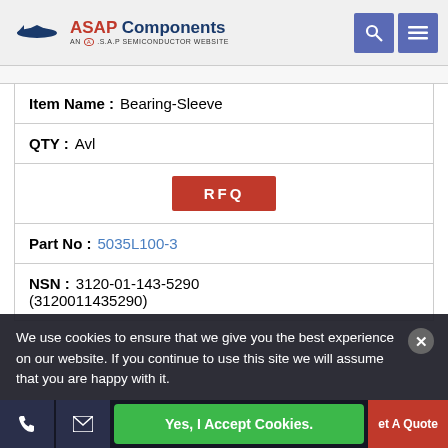[Figure (logo): ASAP Components logo with airplane silhouette - AN A.S.A.P SEMICONDUCTOR WEBSITE]
| Item Name : | Bearing-Sleeve |
| QTY : | Avl |
| RFQ |  |
| Part No : | 5035L100-3 |
| NSN : | 3120-01-143-5290 (3120011435290) |
We use cookies to ensure that we give you the best experience on our website. If you continue to use this site we will assume that you are happy with it.
Yes, I Accept Cookies.